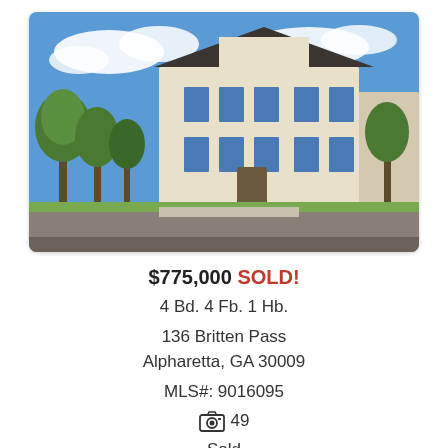[Figure (photo): Exterior photo of a multi-story townhouse/residential building with beige/white facade, dark roof, green trees, blue sky with clouds, and a paved driveway in front.]
$775,000 SOLD!
4 Bd. 4 Fb. 1 Hb.
136 Britten Pass
Alpharetta, GA 30009
MLS#: 9016095
📷 49
Sold
[Figure (photo): Partial view of a second property listing photo — green trees and blue sky visible at top.]